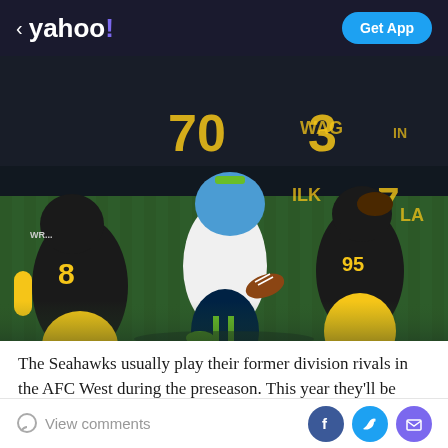< yahoo! | Get App
[Figure (photo): NFL football game action shot showing a Seattle Seahawks quarterback in white uniform scrambling with the ball while Pittsburgh Steelers defenders in black and yellow uniforms pursue him. The game is being played at night on a green field. Player number 8 is visible on the left Steelers defender. Scoreboard/sponsor numbers visible in background including 70, 3, 37.]
The Seahawks usually play their former division rivals in the AFC West during the preseason. This year they'll be facing that division during the regular season, though –
View comments | [Facebook] [Twitter] [Email]